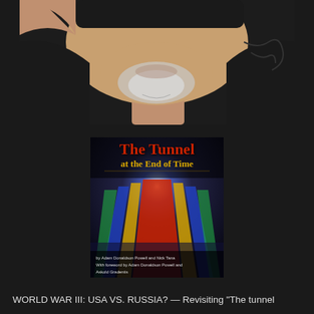[Figure (photo): Close-up selfie photo of a man with grey beard wearing a dark patterned sleeveless hoodie vest, cropped at the chin/neck area against a dark background]
[Figure (photo): Book cover of 'The Tunnel at the End of Time' showing a dramatic tunnel perspective with colorful light streaks in red, yellow, blue, and green on a dark background. Authors listed at bottom including Adam Donaldson Powell and Nick Tana, with foreword by Adam Donaldson Powell and Askold Gradentis]
WORLD WAR III: USA VS. RUSSIA? — Revisiting "The tunnel